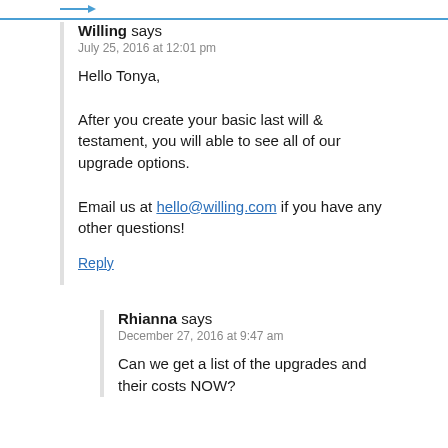Willing says
July 25, 2016 at 12:01 pm
Hello Tonya,

After you create your basic last will & testament, you will able to see all of our upgrade options.

Email us at hello@willing.com if you have any other questions!
Reply
Rhianna says
December 27, 2016 at 9:47 am
Can we get a list of the upgrades and their costs NOW?